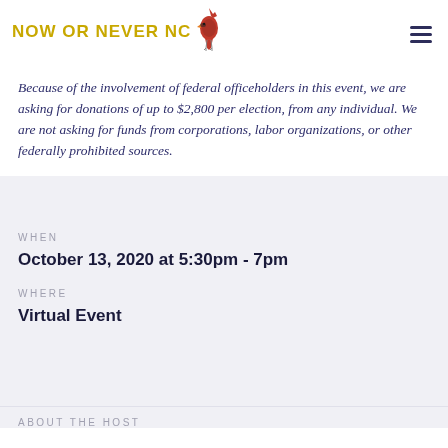NOW OR NEVER NC
Because of the involvement of federal officeholders in this event, we are asking for donations of up to $2,800 per election, from any individual. We are not asking for funds from corporations, labor organizations, or other federally prohibited sources.
WHEN
October 13, 2020 at 5:30pm - 7pm
WHERE
Virtual Event
ABOUT THE HOST